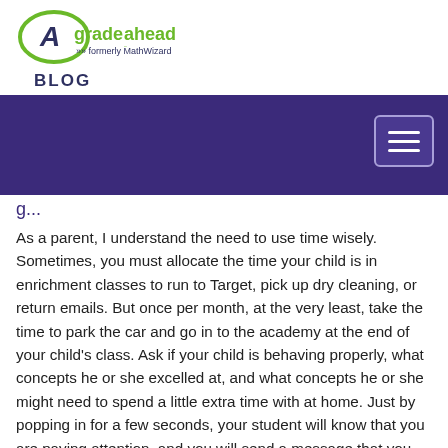[Figure (logo): A Grade Ahead logo — green oval with letter A, text 'gradeahead' in green, 'formerly MathWizard' in dark blue with chevrons]
BLOG
[Figure (screenshot): Dark purple navigation banner with hamburger menu button (three horizontal lines) in the top right corner]
g...
As a parent, I understand the need to use time wisely. Sometimes, you must allocate the time your child is in enrichment classes to run to Target, pick up dry cleaning, or return emails. But once per month, at the very least, take the time to park the car and go in to the academy at the end of your child's class. Ask if your child is behaving properly, what concepts he or she excelled at, and what concepts he or she might need to spend a little extra time with at home. Just by popping in for a few seconds, your student will know that you are paying attention, and you will send a message that you expect him or her to be taking full advantage of the opportunity you are providing.